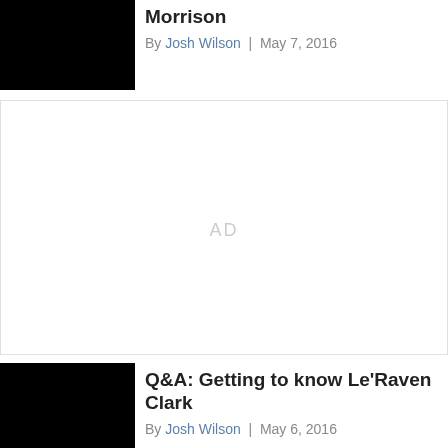[Figure (photo): Black thumbnail image for article about Morrison]
Morrison
By Josh Wilson | May 7, 2016
[Figure (other): AD placeholder advertisement block]
[Figure (photo): Black thumbnail image for article about Le'Raven Clark]
Q&A: Getting to know Le'Raven Clark
By Josh Wilson | May 6, 2016